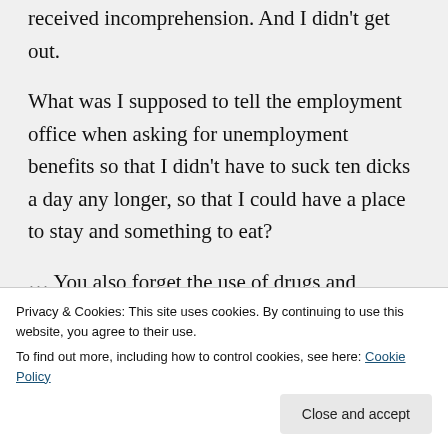received incomprehension. And I didn't get out.
What was I supposed to tell the employment office when asking for unemployment benefits so that I didn't have to suck ten dicks a day any longer, so that I could have a place to stay and something to eat?
… You also forget the use of drugs and alcohol among prostitutes
Privacy & Cookies: This site uses cookies. By continuing to use this website, you agree to their use.
To find out more, including how to control cookies, see here: Cookie Policy
Close and accept